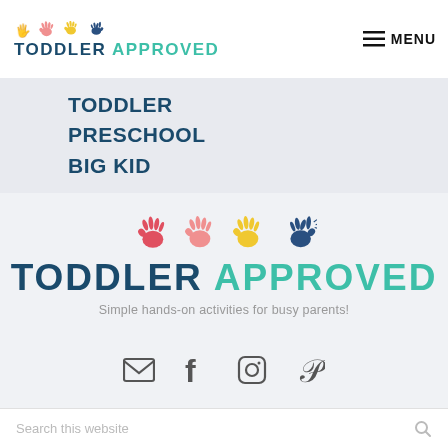[Figure (logo): Toddler Approved website logo with four colorful hand icons (red, pink, yellow, navy) and text TODDLER APPROVED in dark blue and teal]
MENU
TODDLER
PRESCHOOL
BIG KID
[Figure (logo): Large centered Toddler Approved logo with four colorful hand icons and tagline: Simple hands-on activities for busy parents!]
Simple hands-on activities for busy parents!
[Figure (illustration): Social media icons: email envelope, Facebook f, Instagram camera, Pinterest P]
Search this website